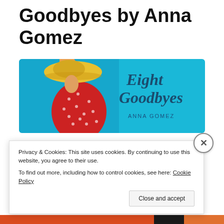Goodbyes by Anna Gomez
[Figure (illustration): Book cover for 'Eight Goodbyes' by Anna Gomez. Shows a woman in a red polka dot dress and large yellow sun hat on the left side, with a bright blue/turquoise background. The title 'Eight Goodbyes' is written in cursive script on the right, with 'ANNA GOMEZ' in capitals below.]
BOOK DETAILS:
Eight Goodbyes
Privacy & Cookies: This site uses cookies. By continuing to use this website, you agree to their use.
To find out more, including how to control cookies, see here: Cookie Policy
Close and accept